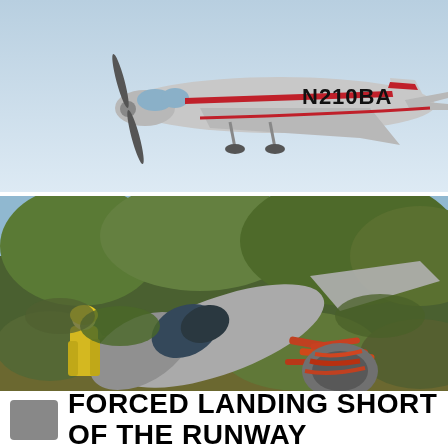[Figure (photo): Silver and red single-engine Cessna 210 aircraft in flight, tail registration N210BA visible, light blue sky background]
[Figure (photo): Crashed and destroyed aircraft fuselage lying in dense green bushes and trees, with exposed engine components and a firefighter or rescue worker visible at left in yellow gear]
FORCED LANDING SHORT OF THE RUNWAY